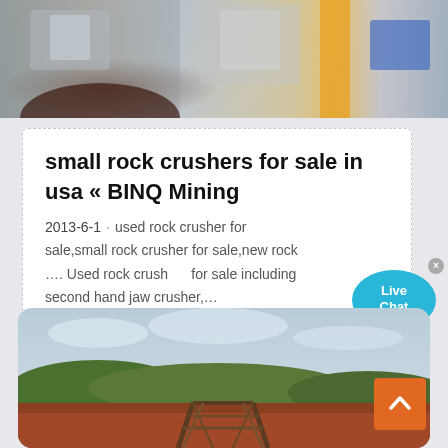[Figure (photo): Top photo showing industrial machinery with orange and blue elements, partial view of a person with dark red hair]
small rock crushers for sale in usa « BINQ Mining
2013-6-1 · used rock crusher for sale,small rock crusher for sale,new rock …. Used rock crushers for sale including second hand jaw crusher,…
[Figure (photo): Bottom photo showing an outdoor mining site with red/orange soil, wooden scaffolding structure, green trees and cloudy sky in background]
[Figure (infographic): Live Chat speech bubble button, teal/blue colored with 'Live Chat' text]